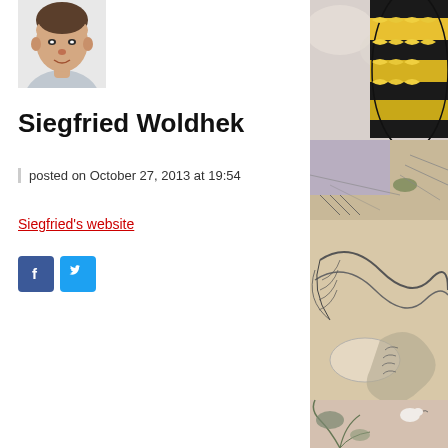[Figure (photo): Portrait photo of a person, cropped face/shoulders, top-left of page]
Siegfried Woldhek
posted on October 27, 2013 at 19:54
Siegfried's website
[Figure (other): Social media share buttons: Facebook (blue) and Twitter (light blue)]
[Figure (illustration): Colorful illustration on the right side of the page showing a wasp/bee with yellow and black stripes at top, and naturalistic animal/creature sketches below in muted colors (beige, purple, olive)]